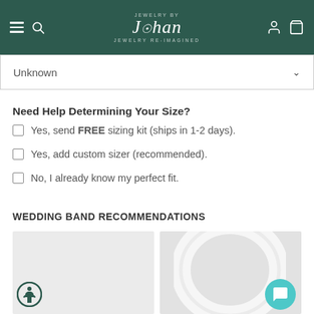Jewelry by Johan — JEWELRY RE-IMAGINED
Unknown
Need Help Determining Your Size?
Yes, send FREE sizing kit (ships in 1-2 days).
Yes, add custom sizer (recommended).
No, I already know my perfect fit.
WEDDING BAND RECOMMENDATIONS
[Figure (photo): Two product image cards side by side showing wedding bands; left card is plain light grey, right card shows a white/silver ring silhouette. Accessibility icon on left card, chat button on right card.]